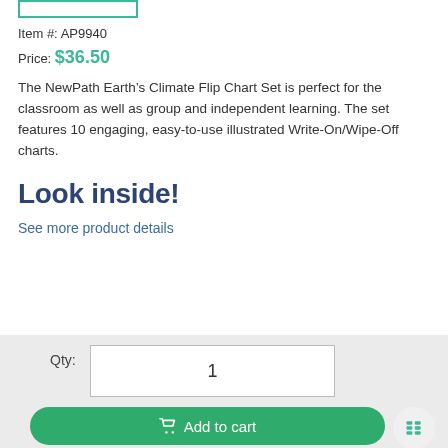Item #: AP9940
Price: $36.50
The NewPath Earth’s Climate Flip Chart Set is perfect for the classroom as well as group and independent learning. The set features 10 engaging, easy-to-use illustrated Write-On/Wipe-Off charts.
Look inside!
See more product details
Product Details
Qty: 1
Add to cart